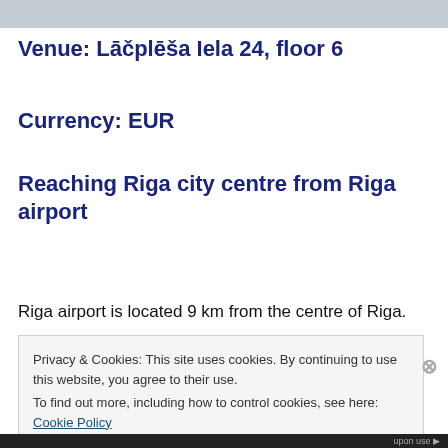[Figure (photo): Top banner image, partially visible, appears to be a website header]
Venue: Lāčplēša Iela 24, floor 6
Currency: EUR
Reaching Riga city centre from Riga airport
Riga airport is located 9 km from the centre of Riga.
Privacy & Cookies: This site uses cookies. By continuing to use this website, you agree to their use.
To find out more, including how to control cookies, see here: Cookie Policy
Close and accept